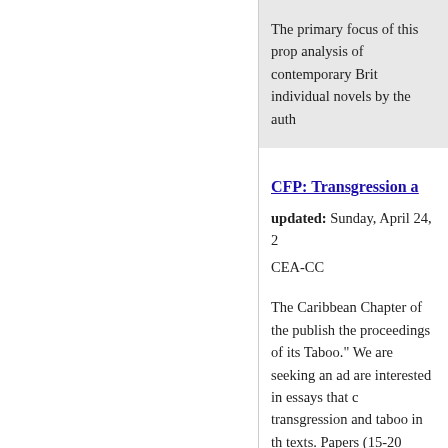The primary focus of this prop analysis of contemporary Brit individual novels by the auth
CFP: Transgression a
updated: Sunday, April 24, 2
CEA-CC
The Caribbean Chapter of the publish the proceedings of its Taboo." We are seeking an ad are interested in essays that c transgression and taboo in th texts. Papers (15-20 pages) s electronically in MS Word form vmessier_at_uprm.edu with " subject line of the message b